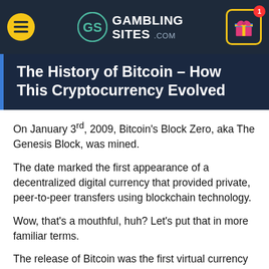GAMBLING SITES .com
The History of Bitcoin – How This Cryptocurrency Evolved
On January 3rd, 2009, Bitcoin's Block Zero, aka The Genesis Block, was mined.
The date marked the first appearance of a decentralized digital currency that provided private, peer-to-peer transfers using blockchain technology.
Wow, that's a mouthful, huh? Let's put that in more familiar terms.
The release of Bitcoin was the first virtual currency not tied to a governmental authority or agency. Bitcoin was simply Bitcoin. It didn't matter if you lived in the United States, the United Kingdom, China, or anywhere in the world. Using